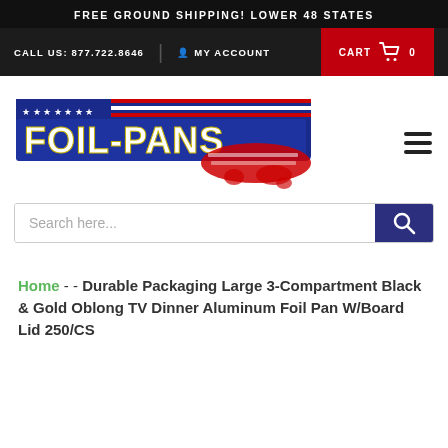FREE GROUND SHIPPING! LOWER 48 STATES
CALL US: 877.722.8646 | MY ACCOUNT | CART 0
[Figure (logo): FOIL-PANS.com logo with American flag USA map graphic, blue and red colors]
Search here...
Home - - Durable Packaging Large 3-Compartment Black & Gold Oblong TV Dinner Aluminum Foil Pan W/Board Lid 250/CS